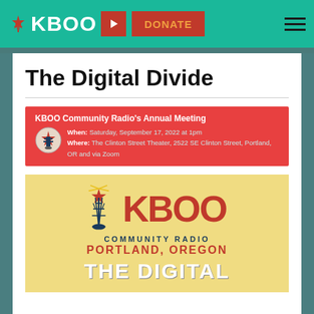KBOO | DONATE
The Digital Divide
KBOO Community Radio's Annual Meeting
When: Saturday, September 17, 2022 at 1pm
Where: The Clinton Street Theater, 2522 SE Clinton Street, Portland, OR and via Zoom
[Figure (logo): KBOO Community Radio poster with tower illustration, red KBOO text, community radio Portland Oregon, and THE DIGITAL text at bottom on yellow background]